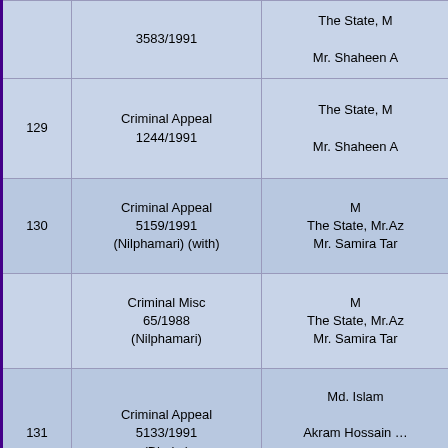| No. | Case | Parties |
| --- | --- | --- |
|  | 3583/1991 | The State, M…
Mr. Shaheen A… |
| 129 | Criminal Appeal
1244/1991 | The State, M…
Mr. Shaheen A… |
| 130 | Criminal Appeal
5159/1991
(Nilphamari) (with) | M…
The State, Mr.Az…
Mr. Samira Tar… |
|  | Criminal Misc
65/1988
(Nilphamari) | M…
The State, Mr.Az…
Mr. Samira Tar… |
| 131 | Criminal Appeal
5133/1991
(Dhaka) | Md. Islam…
Akram Hossain …
Mr. Samira Tar… |
| 132 | Criminal Appeal |  |